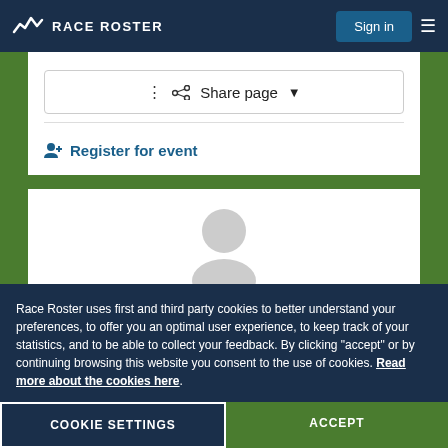RACE ROSTER
Share page
Register for event
[Figure (illustration): Generic user/person silhouette placeholder avatar icon in light grey]
Race Roster uses first and third party cookies to better understand your preferences, to offer you an optimal user experience, to keep track of your statistics, and to be able to collect your feedback. By clicking “accept” or by continuing browsing this website you consent to the use of cookies. Read more about the cookies here.
COOKIE SETTINGS
ACCEPT